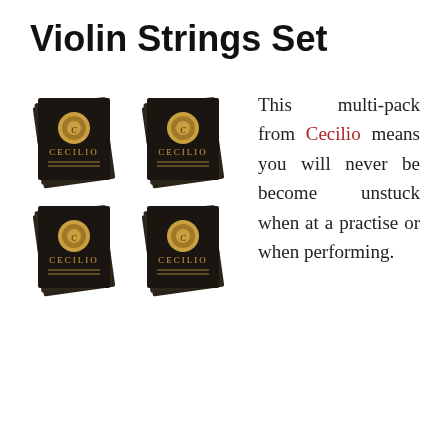Violin Strings Set
[Figure (photo): Four packages of Cecilio violin strings arranged in a 2x2 grid, each showing the Cecilio brand logo on dark packaging]
This multi-pack from Cecilio means you will never be become unstuck when at a practise or when performing.